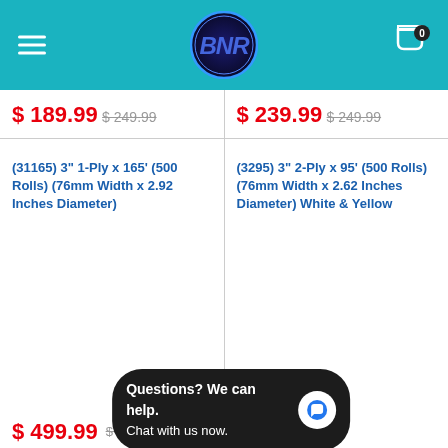[Figure (logo): Website header with teal/cyan background, hamburger menu icon on left, circular logo in center with stylized letters, shopping cart icon with '0' badge on right]
$ 189.99  $ 249.99
$ 239.99  $ 249.99
(31165) 3" 1-Ply x 165' (500 Rolls) (76mm Width x 2.92 Inches Diameter)
(3295) 3" 2-Ply x 95' (500 Rolls) (76mm Width x 2.62 Inches Diameter) White & Yellow
$ 499.99  $ 5**  (partially obscured)
$ 749.99
Questions? We can help. Chat with us now.